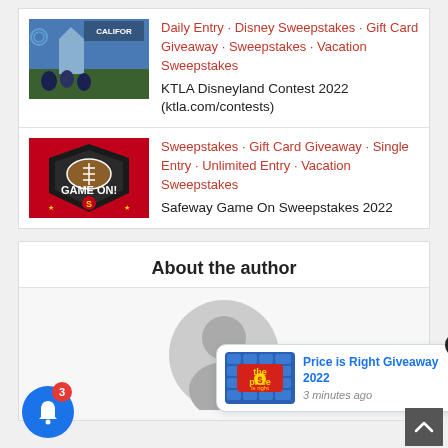Daily Entry · Disney Sweepstakes · Gift Card Giveaway · Sweepstakes · Vacation Sweepstakes
KTLA Disneyland Contest 2022 (ktla.com/contests)
Sweepstakes · Gift Card Giveaway · Single Entry · Unlimited Entry · Vacation Sweepstakes
Safeway Game On Sweepstakes 2022
About the author
[Figure (illustration): Generic user avatar placeholder - grey circle with person silhouette]
[Figure (screenshot): Notification popup: Price is Right Giveaway 2022 thumbnail with blue tiled background and game show logo, title in blue link text, timestamp '3 minutes ago']
[Figure (illustration): Blue circular bell notification button with badge showing count 3]
[Figure (illustration): Back to top arrow button, dark grey]